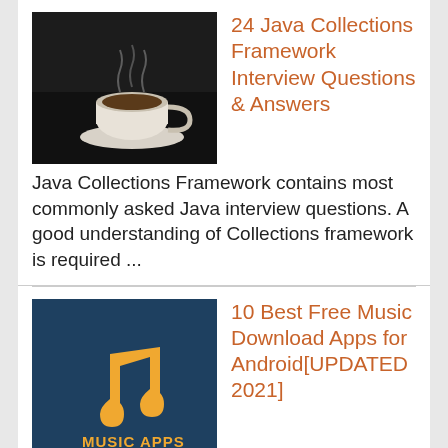[Figure (photo): Black and white photo of a coffee cup with steam]
24 Java Collections Framework Interview Questions & Answers
Java Collections Framework contains most commonly asked Java interview questions. A good understanding of Collections framework is required ...
[Figure (illustration): Dark blue background with music note icon and text MUSIC APPS in orange/yellow]
10 Best Free Music Download Apps for Android[UPDATED 2021]
Looking for best free music download app for android? We have shortlisted some of the highly recommended musi...
[Figure (illustration): Illustration of Java coffee cup with INTERVIEW stamp text in red]
10 Core Java Interview Questions & Answers for Senior Experienced Developer
This is list of some Java fundamental questions and answers, which are commonly asked in a Core Java interview for Experienced